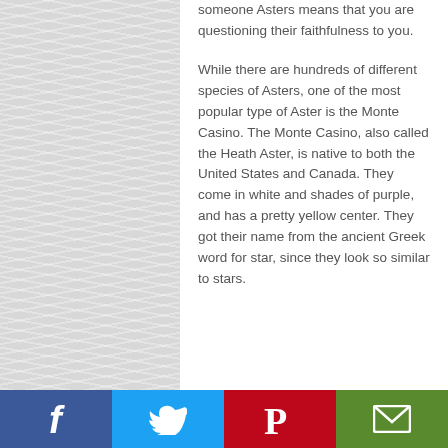someone Asters means that you are questioning their faithfulness to you.
While there are hundreds of different species of Asters, one of the most popular type of Aster is the Monte Casino. The Monte Casino, also called the Heath Aster, is native to both the United States and Canada. They come in white and shades of purple, and has a pretty yellow center. They got their name from the ancient Greek word for star, since they look so similar to stars.